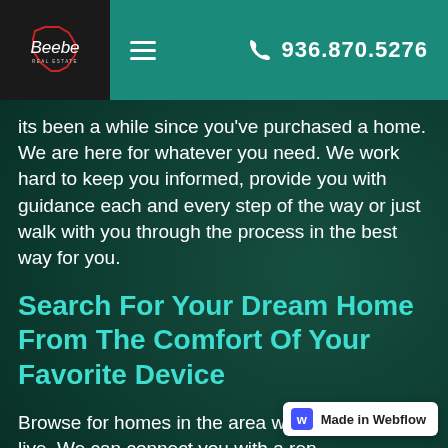[Figure (logo): Beebe Real Estate logo on dark background with Texas state outline in red]
≡   936.870.5276
its been a while since you've purchased a home. We are here for whatever you need. We work hard to keep you informed, provide you with guidance each and every step of the way or just walk with you through the process in the best way for you.
Search For Your Dream Home From The Comfort Of Your Favorite Device
Browse for homes in the area where you want to live. We can connect you with a rep